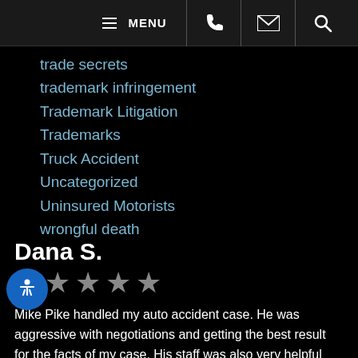MENU [phone] [email] [search]
trade secrets
trademark infringement
Trademark Litigation
Trademarks
Truck Accident
Uncategorized
Uninsured Motorists
wrongful death
Dana S.
[Figure (other): Five gray star rating icons]
Mike Pike handled my auto accident case. He was aggressive with negotiations and getting the best result for the facts of my case. His staff was also very helpful and organized. Very good trial attorneys. I would recommend Pike and Lustig, highly.